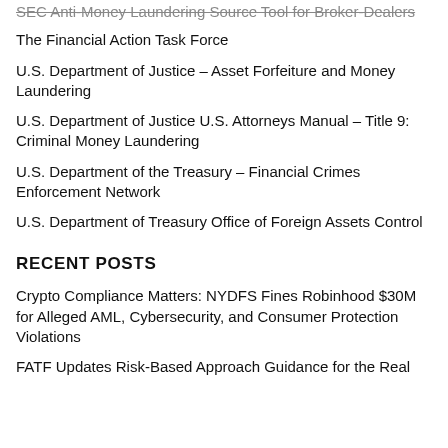SEC Anti-Money Laundering Source Tool for Broker-Dealers
The Financial Action Task Force
U.S. Department of Justice – Asset Forfeiture and Money Laundering
U.S. Department of Justice U.S. Attorneys Manual – Title 9: Criminal Money Laundering
U.S. Department of the Treasury – Financial Crimes Enforcement Network
U.S. Department of Treasury Office of Foreign Assets Control
RECENT POSTS
Crypto Compliance Matters: NYDFS Fines Robinhood $30M for Alleged AML, Cybersecurity, and Consumer Protection Violations
FATF Updates Risk-Based Approach Guidance for the Real